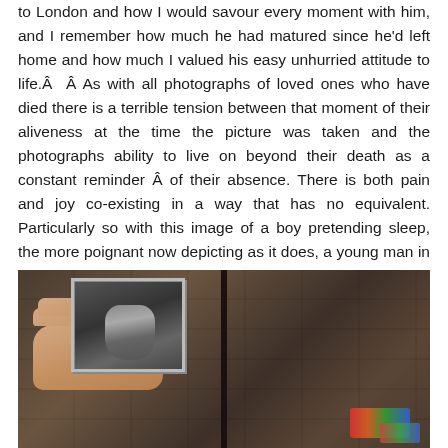to London and how I would savour every moment with him, and I remember how much he had matured since he'd left home and how much I valued his easy unhurried attitude to life.Â  Â As with all photographs of loved ones who have died there is a terrible tension between that moment of their aliveness at the time the picture was taken and the photographs ability to live on beyond their death as a constant reminder Â of their absence. There is both pain and joy co-existing in a way that has no equivalent. Particularly so with this image of a boy pretending sleep, the more poignant now depicting as it does, a young man in perpetual sleep.
[Figure (photo): A hand holds a small black-and-white photograph of a young boy/man appearing to sleep or rest, against a backdrop of a stone wall with a dark vertical crack or gap. In the lower right corner, colorful items (possibly flowers or objects) are visible.]